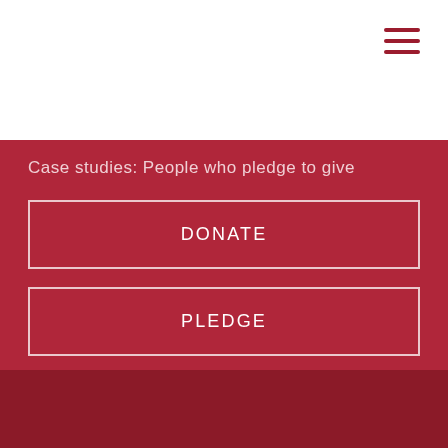Case studies: People who pledge to give
DONATE
PLEDGE